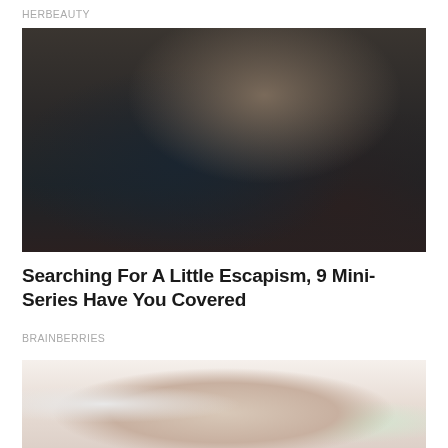HERBEAUTY
[Figure (photo): Two people laughing and wrestling on the floor near a doorway, viewed from low angle. Indoor scene with dim lighting.]
Searching For A Little Escapism, 9 Mini-Series Have You Covered
BRAINBERRIES
[Figure (photo): Person in white tank top, cropped view of torso and legs, bright indoor setting with shelves and plant visible.]